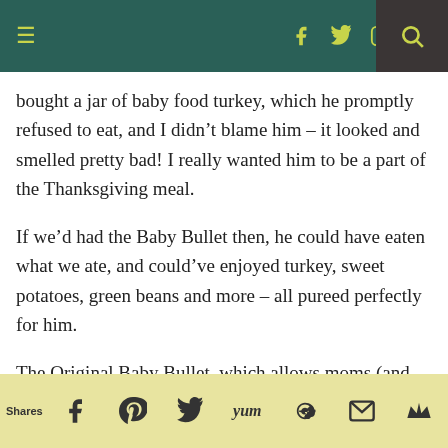Navigation bar with hamburger menu, social icons (Facebook, Twitter, Instagram, RSS), and search
bought a jar of baby food turkey, which he promptly refused to eat, and I didn't blame him – it looked and smelled pretty bad! I really wanted him to be a part of the Thanksgiving meal.
If we'd had the Baby Bullet then, he could have eaten what we ate, and could've enjoyed turkey, sweet potatoes, green beans and more – all pureed perfectly for him.
The Original Baby Bullet, which allows moms (and dads, too) to prepare and store a week's worth of preservative-free baby food in five minutes, encourages you to create a menu of
Shares — share icons: Facebook, Pinterest, Twitter, Yum, Google+, Email, Crown